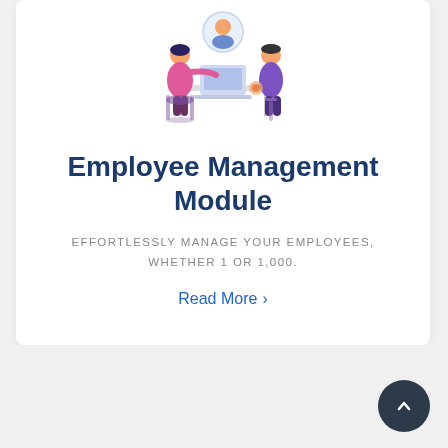[Figure (illustration): Two people and a floating avatar illustration depicting employee management - a woman in pink and a man in purple working at a desk with a laptop, with a circular profile avatar above.]
Employee Management Module
EFFORTLESSLY MANAGE YOUR EMPLOYEES, WHETHER 1 OR 1,000.
Read More >